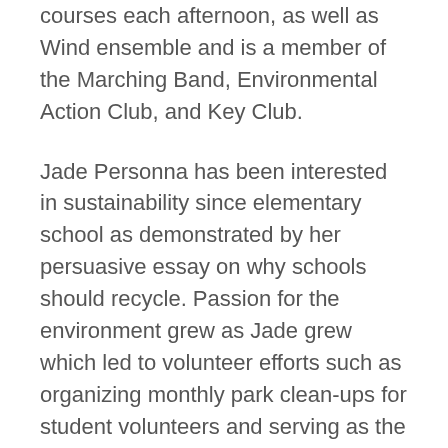courses each afternoon, as well as Wind ensemble and is a member of the Marching Band, Environmental Action Club, and Key Club.
Jade Personna has been interested in sustainability since elementary school as demonstrated by her persuasive essay on why schools should recycle. Passion for the environment grew as Jade grew which led to volunteer efforts such as organizing monthly park clean-ups for student volunteers and serving as the president of the E.C. Glass Environmental Action Club.
At the Central Virginia Governor's School for Science and Technology, Ms. Personna conducted a research project on the